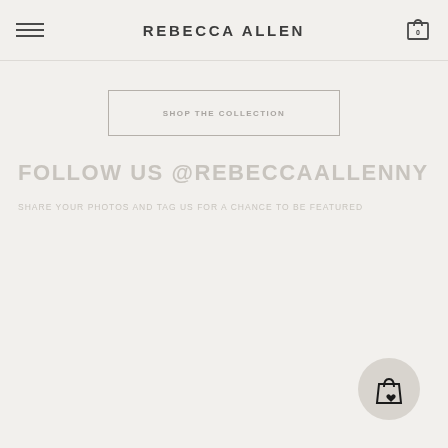REBECCA ALLEN
SHOP THE COLLECTION
FOLLOW US @REBECCAALLENNY
SHARE YOUR PHOTOS AND TAG US FOR A CHANCE TO BE FEATURED